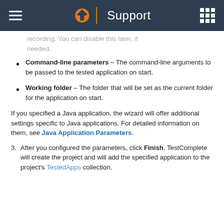Support
recording. You can disable this later, if needed.
Command-line parameters – The command-line arguments to be passed to the tested application on start.
Working folder – The folder that will be set as the current folder for the application on start.
If you specified a Java application, the wizard will offer additional settings specific to Java applications. For detailed information on them, see Java Application Parameters.
3. After you configured the parameters, click Finish. TestComplete will create the project and will add the specified application to the project's TestedApps collection.